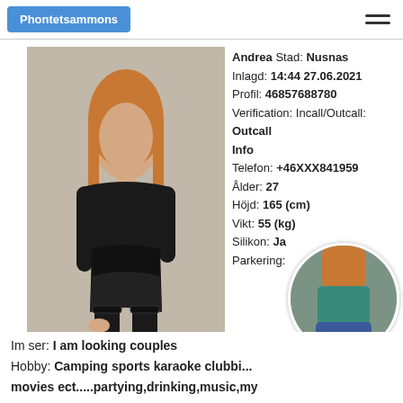Phontelsammons
[Figure (photo): Main profile photo of Andrea, a young woman in black outfit with stockings, posing indoors]
Andrea Stad: Nusnas
Inlagd: 14:44 27.06.2021
Profil: 46857688780
Verification: Incall/Outcall:
Outcall
Info
Telefon: +46XXX841959
Ålder: 27
Höjd: 165 (cm)
Vikt: 55 (kg)
Silikon: Ja
Parkering:
[Figure (photo): Small circular thumbnail photo of Andrea in teal/denim outfit, rear view]
Im ser: I am looking couples
Hobby: Camping sports karaoke clubbing movies ect.....partying,drinking,music,my